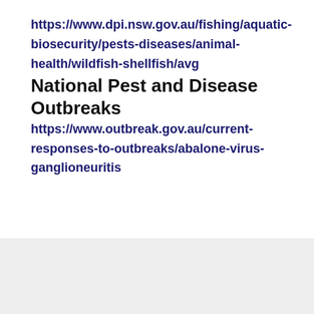https://www.dpi.nsw.gov.au/fishing/aquatic-biosecurity/pests-diseases/animal-health/wildfish-shellfish/avg
National Pest and Disease Outbreaks
https://www.outbreak.gov.au/current-responses-to-outbreaks/abalone-virus-ganglioneuritis